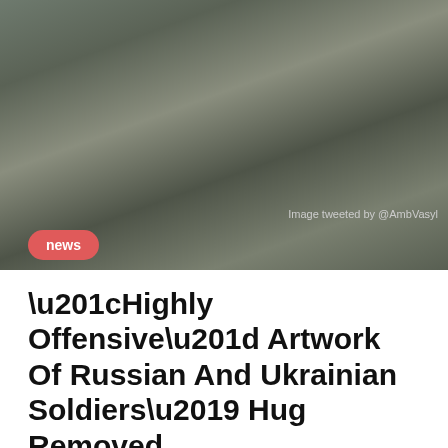[Figure (photo): Artwork depicting two soldiers hugging, styled as a painting with muted green and grey tones]
Image tweeted by @AmbVasyl
“Highly Offensive” Artwork Of Russian And Ukrainian Soldiers’ Hug Removed
We use cookies on our website to give you the most relevant experience by remembering your preferences and repeat visits. By clicking “Accept All”, you consent to the use of ALL the cookies. However, you may visit "Cookie Settings" to provide a controlled consent.
Cookie Settings | Accept All